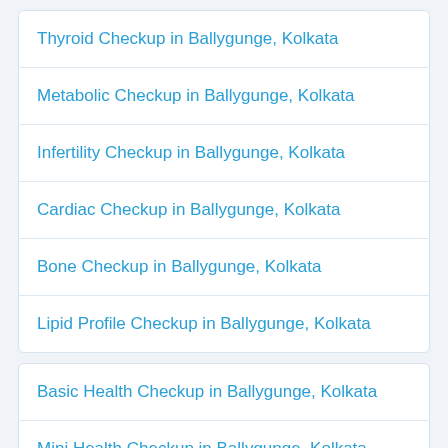Thyroid Checkup in Ballygunge, Kolkata
Metabolic Checkup in Ballygunge, Kolkata
Infertility Checkup in Ballygunge, Kolkata
Cardiac Checkup in Ballygunge, Kolkata
Bone Checkup in Ballygunge, Kolkata
Lipid Profile Checkup in Ballygunge, Kolkata
Basic Health Checkup in Ballygunge, Kolkata
Mini Health Checkup in Ballygunge, Kolkata